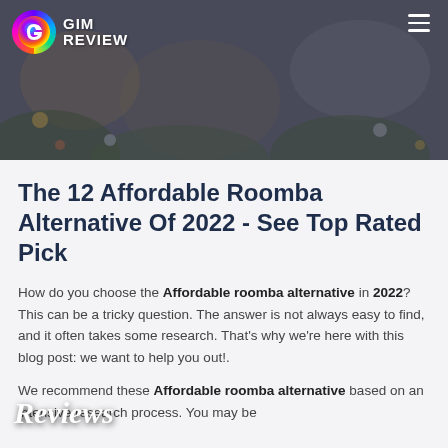GIM REVIEW
Reviews
The 12 Affordable Roomba Alternative Of 2022 - See Top Rated Pick
How do you choose the Affordable roomba alternative in 2022? This can be a tricky question. The answer is not always easy to find, and it often takes some research. That's why we're here with this blog post: we want to help you out!.
We recommend these Affordable roomba alternative based on an intensive research process. You may be